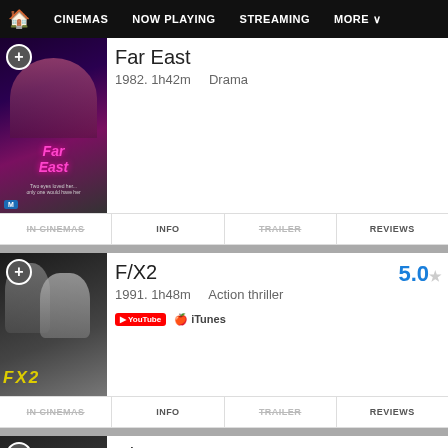CINEMAS  NOW PLAYING  STREAMING  MORE
Far East
1982. 1h42m   Drama
IN CINEMAS   INFO   TRAILER   REVIEWS
F/X2
5.0
1991. 1h48m   Action thriller
YouTube  iTunes
IN CINEMAS   INFO   TRAILER   REVIEWS
F/X
8.0
1986. 1h49m   Action thriller
iTunes
IN CINEMAS   INFO   TRAILER   REVIEWS